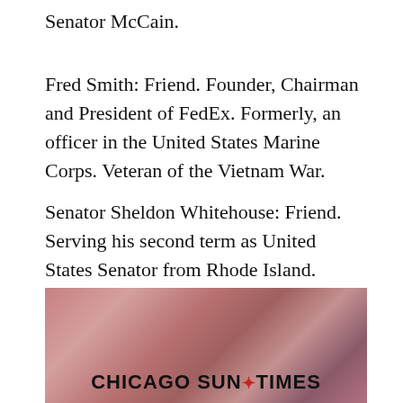Senator McCain.
Fred Smith: Friend. Founder, Chairman and President of FedEx. Formerly, an officer in the United States Marine Corps. Veteran of the Vietnam War.
Senator Sheldon Whitehouse: Friend. Serving his second term as United States Senator from Rhode Island. Formerly, Attorney General for the State of Rhode Island and Providence Plantations; U.S. Attorney for the District of Rhode Island.
[Figure (photo): A blurred/soft-focus photograph with warm reddish tones showing indistinct figures, overlaid with the Chicago Sun-Times logo text in bold black at the bottom center.]